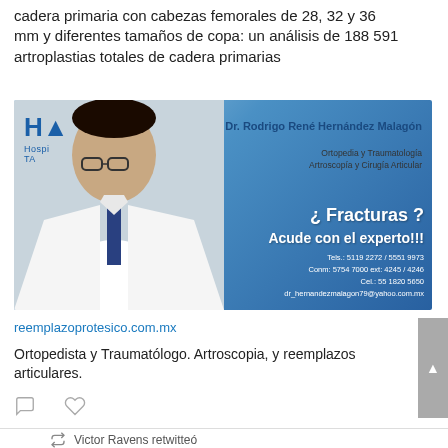cadera primaria con cabezas femorales de 28, 32 y 36 mm y diferentes tamaños de copa: un análisis de 188 591 artroplastias totales de cadera primarias
[Figure (photo): Medical advertisement for Dr. Rodrigo René Hernández Malagón, Ortopedia y Traumatología, Artroscopía y Cirugía Articular. Text: ¿ Fracturas ? Acude con el experto!!! Hospital logo visible. Contact info: Tels.: 5119 2272 / 5551 9973, Conm: 5754 7000 ext: 4245 / 4246, Cel.: 55 1820 5650, dr_hernandezmalagon79@yahoo.com.mx]
reemplazoprotesico.com.mx
Ortopedista y Traumatólogo. Artroscopia, y reemplazos articulares.
Victor Ravens retwitteó
FEMECOT A.C.